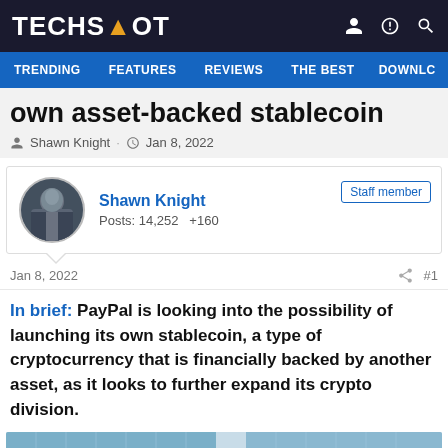TECHSPOT
TRENDING · FEATURES · REVIEWS · THE BEST · DOWNLC
own asset-backed stablecoin
Shawn Knight · Jan 8, 2022
Shawn Knight
Posts: 14,252  +160
Staff member
Jan 8, 2022  #1
In brief: PayPal is looking into the possibility of launching its own stablecoin, a type of cryptocurrency that is financially backed by another asset, as it looks to further expand its crypto division.
[Figure (photo): Bottom portion of an article image showing a building with glass windows and a blue object]